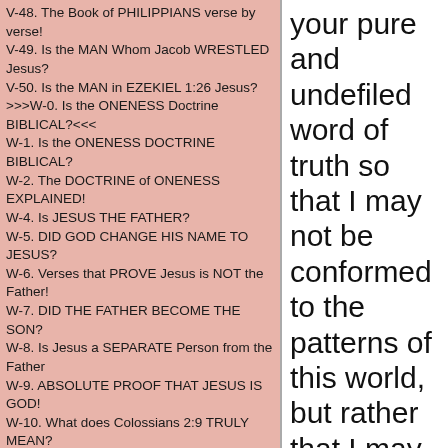V-48. The Book of PHILIPPIANS verse by verse!
V-49. Is the MAN Whom Jacob WRESTLED Jesus?
V-50. Is the MAN in EZEKIEL 1:26 Jesus?
>>>W-0. Is the ONENESS Doctrine BIBLICAL?<<<
W-1. Is the ONENESS DOCTRINE BIBLICAL?
W-2. The DOCTRINE of ONENESS EXPLAINED!
W-4. Is JESUS THE FATHER?
W-5. DID GOD CHANGE HIS NAME TO JESUS?
W-6. Verses that PROVE Jesus is NOT the Father!
W-7. DID THE FATHER BECOME THE SON?
W-8. Is Jesus a SEPARATE Person from the Father
W-9. ABSOLUTE PROOF THAT JESUS IS GOD!
W-10. What does Colossians 2:9 TRULY MEAN?
W-11. Isaiah 9:6 The Everlasting Father!
W-12. WHAT DOES ACTS 20:28 TRULY MEAN?
W-13. WHAT DOES ISAIAH 52:6 TRULY MEAN?
W-14. What does Hebrews 10:20 TRULY MEAN?
W-15. What does Psalm 40:6,7 TRULY MEAN?
W-16. The “I am he” Verses in the Old Testament!
W-17. The “I am he” Verses in the New Testament!
W-18. All the “No God BESIDE ME” VERSES!
>>>X-0. Preterism<<<
X-1. WHAT IS PRETERISM?
X-2. PRETERISM TRUE OR FALSE? Part 1
your pure and undefiled word of truth so that I may not be conformed to the patterns of this world, but rather that I may prove your word and know what